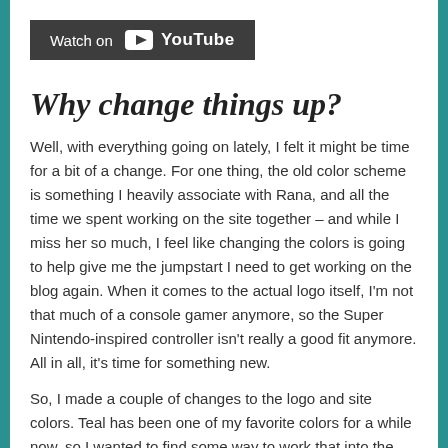[Figure (screenshot): YouTube 'Watch on YouTube' button/banner with dark gray background]
Why change things up?
Well, with everything going on lately, I felt it might be time for a bit of a change. For one thing, the old color scheme is something I heavily associate with Rana, and all the time we spent working on the site together – and while I miss her so much, I feel like changing the colors is going to help give me the jumpstart I need to get working on the blog again. When it comes to the actual logo itself, I'm not that much of a console gamer anymore, so the Super Nintendo-inspired controller isn't really a good fit anymore. All in all, it's time for something new.
So, I made a couple of changes to the logo and site colors. Teal has been one of my favorite colors for a while now, so I wanted to find some way to work that into the logo. Additionally, while I may not play many console games now, I have always enjoyed playing tabletop RPGs. Switching out the magenta controller with